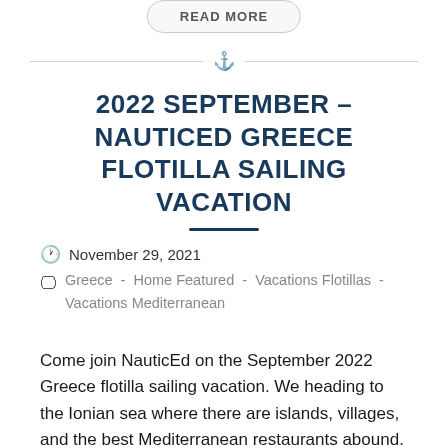READ MORE
2022 SEPTEMBER – NAUTICED GREECE FLOTILLA SAILING VACATION
November 29, 2021
Greece  -  Home Featured  -  Vacations Flotillas  -  Vacations Mediterranean
Come join NauticEd on the September 2022 Greece flotilla sailing vacation. We heading to the Ionian sea where there are islands, villages, and the best Mediterranean restaurants abound.